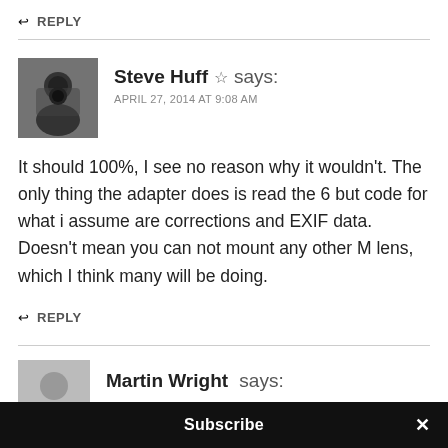↩ REPLY
Steve Huff ☆ says: APRIL 27, 2014 AT 9:08 AM
[Figure (photo): Black and white profile photo of Steve Huff holding a camera]
It should 100%, I see no reason why it wouldn't. The only thing the adapter does is read the 6 but code for what i assume are corrections and EXIF data. Doesn't mean you can not mount any other M lens, which I think many will be doing.
↩ REPLY
Martin Wright says:
Subscribe